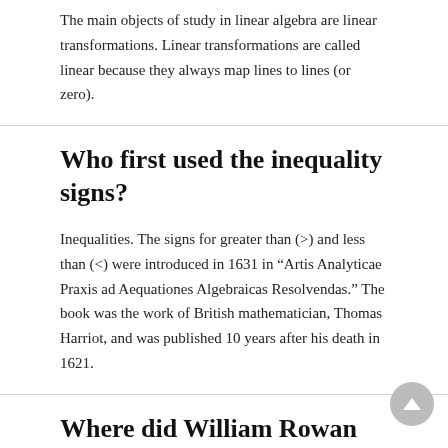The main objects of study in linear algebra are linear transformations. Linear transformations are called linear because they always map lines to lines (or zero).
Who first used the inequality signs?
Inequalities. The signs for greater than (>) and less than (<) were introduced in 1631 in “Artis Analyticae Praxis ad Aequationes Algebraicas Resolvendas.” The book was the work of British mathematician, Thomas Harriot, and was published 10 years after his death in 1621.
Where did William Rowan Hamilton live?